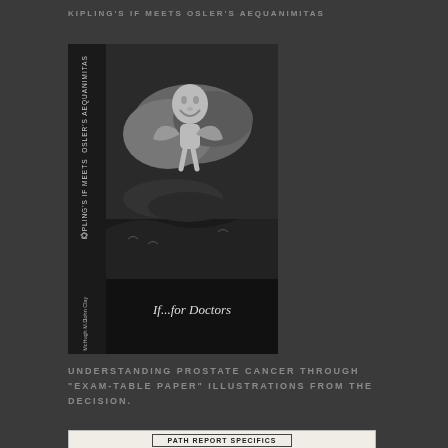KIPLING'S IF MEETS OSLER'S AEQUANIMITAS
[Figure (photo): Book cover of 'If...for Doctors' by John Clay McHugh M.D. — Kipling's If Meets Osler's Aequanimitas. Black and white image of a cherub-like figure floating in clouds above a landscape.]
UNDERSTANDING PROSTATE CANCER THROUGH "EXAM-TABLE PAPER" ILLUSTRATIONS FROM THE DECISION.
[Figure (table-as-image): Partial view of a PATH REPORT SPECIFICS table with column headers visible at the bottom of the page.]